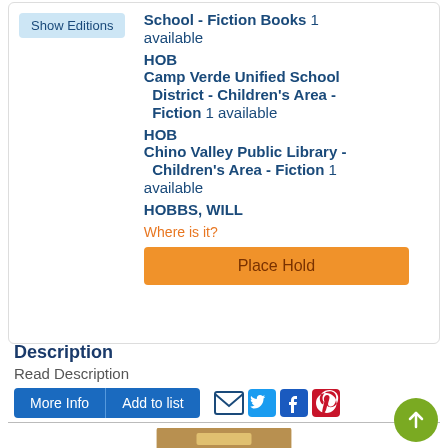Show Editions
School - Fiction Books  1 available
HOB
Camp Verde Unified School District - Children's Area - Fiction  1 available
HOB
Chino Valley Public Library - Children's Area - Fiction  1 available
HOBBS, WILL
Where is it?
Place Hold
Description
Read Description
More Info
Add to list
[Figure (screenshot): Book cover image at bottom of page]